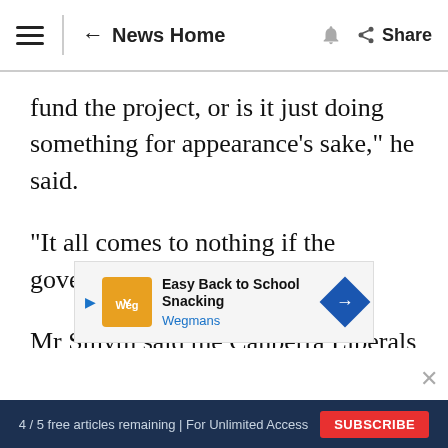News Home | Share
fund the project, or is it just doing something for appearance's sake," he said.
"It all comes to nothing if the government won't fund it."
Mr Smyth said the Canberra Liberals had been pushing for a new centre since 2006.
"Almost nine years later we're yet to turn the
[Figure (screenshot): Advertisement banner for Wegmans Easy Back to School Snacking]
4 / 5 free articles remaining | For Unlimited Access SUBSCRIBE